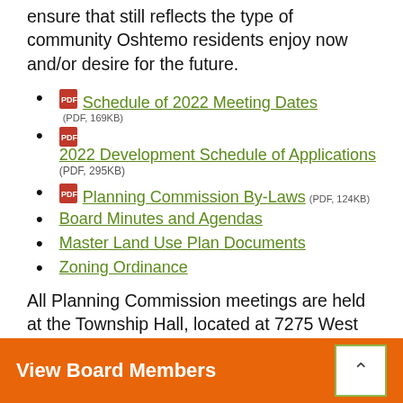ensure that still reflects the type of community Oshtemo residents enjoy now and/or desire for the future.
Schedule of 2022 Meeting Dates (PDF, 169KB)
2022 Development Schedule of Applications (PDF, 295KB)
Planning Commission By-Laws (PDF, 124KB)
Board Minutes and Agendas
Master Land Use Plan Documents
Zoning Ordinance
All Planning Commission meetings are held at the Township Hall, located at 7275 West Main Street.
View Board Members